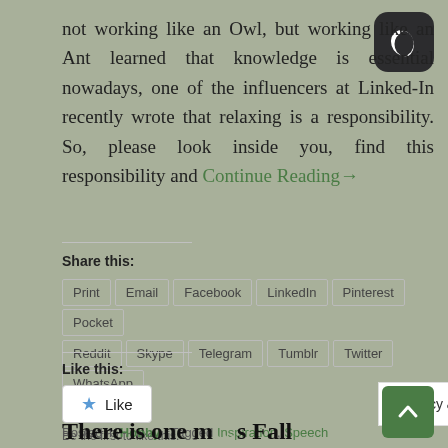not working like an Owl, but working like an Ant learned that knowledge is essential nowadays, one of the influencers at Linked-In recently wrote that relaxing is a responsibility. So, please look inside you, find this responsibility and Continue Reading→
Share this:
Print
Email
Facebook
LinkedIn
Pinterest
Pocket
Reddit
Skype
Telegram
Tumblr
Twitter
WhatsApp
Like this:
Like
Be the first to like this.
Posted in Hobby | Tagged Inspiration, Speech
There is one m… s Fall
Privacy & Cookies Policy